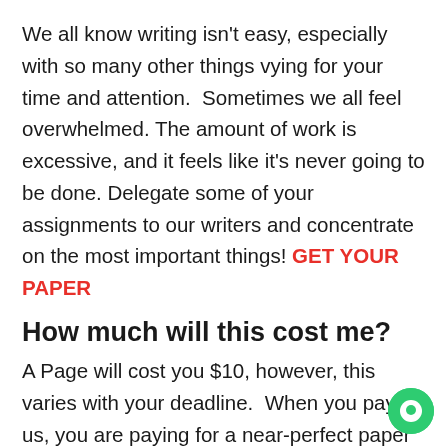We all know writing isn't easy, especially with so many other things vying for your time and attention.  Sometimes we all feel overwhelmed. The amount of work is excessive, and it feels like it's never going to be done. Delegate some of your assignments to our writers and concentrate on the most important things! GET YOUR PAPER
How much will this cost me?
A Page will cost you $10, however, this varies with your deadline.  When you pay us, you are paying for a near-perfect paper and the tim convenience.